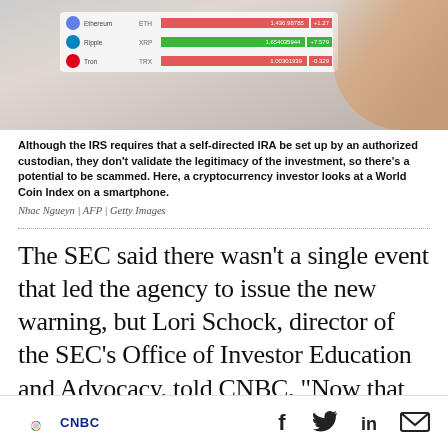[Figure (photo): Close-up of a smartphone screen showing a cryptocurrency price index (World Coin Index) with rows for Ethereum (ETH), Ripple (XRP), and Tron (TRX), showing red and green price tiles; a hand/finger visible at top right.]
Although the IRS requires that a self-directed IRA be set up by an authorized custodian, they don't validate the legitimacy of the investment, so there's a potential to be scammed. Here, a cryptocurrency investor looks at a World Coin Index on a smartphone.
Nhac Ngueyn | AFP | Getty Images
The SEC said there wasn't a single event that led the agency to issue the new warning, but Lori Schock, director of the SEC's Office of Investor Education and Advocacy, told CNBC, "Now that some self-directed IRAs include digital assets — cryptocurrencies, coins and tokens, such as those
CNBC | f | Twitter | in | Email